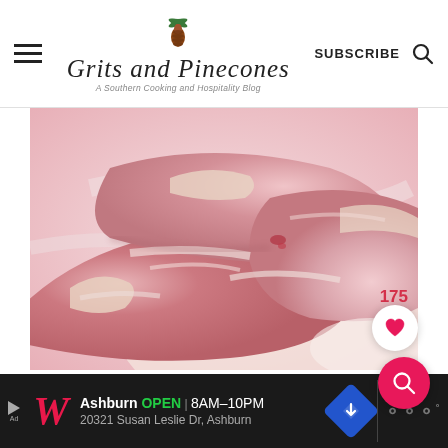Grits and Pinecones — A Southern Cooking and Hospitality Blog — SUBSCRIBE
[Figure (photo): Close-up photo of raw pork chops, pink and fresh, on a light surface]
175
[Figure (other): Heart (like) button and search button overlaid on main image]
[Figure (infographic): Walgreens advertisement banner: Ashburn OPEN 8AM–10PM, 20321 Susan Leslie Dr, Ashburn]